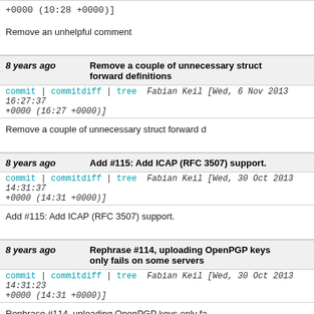+0000 (10:28 +0000)]
Remove an unhelpful comment
8 years ago  Remove a couple of unnecessary struct forward definitions
commit | commitdiff | tree  Fabian Keil [Wed, 6 Nov 2013 16:27:37 +0000 (16:27 +0000)]
Remove a couple of unnecessary struct forward d
8 years ago  Add #115: Add ICAP (RFC 3507) support.
commit | commitdiff | tree  Fabian Keil [Wed, 30 Oct 2013 14:31:37 +0000 (14:31 +0000)]
Add #115: Add ICAP (RFC 3507) support.
8 years ago  Rephrase #114, uploading OpenPGP keys only fails on some servers
commit | commitdiff | tree  Fabian Keil [Wed, 30 Oct 2013 14:31:23 +0000 (14:31 +0000)]
Rephrase #114, uploading OpenPGP keys only fa
8 years ago  Disable fast-redirects for